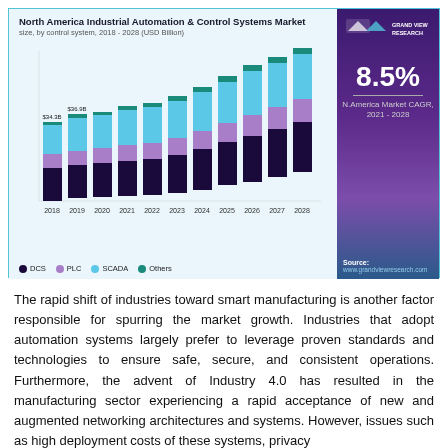[Figure (stacked-bar-chart): North America Industrial Automation & Control Systems Market]
The rapid shift of industries toward smart manufacturing is another factor responsible for spurring the market growth. Industries that adopt automation systems largely prefer to leverage proven standards and technologies to ensure safe, secure, and consistent operations. Furthermore, the advent of Industry 4.0 has resulted in the manufacturing sector experiencing a rapid acceptance of new and augmented networking architectures and systems. However, issues such as high deployment costs of these systems, privacy